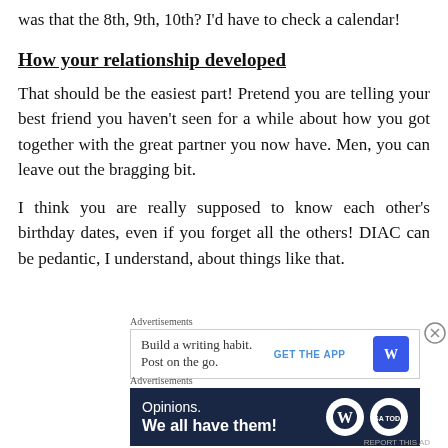was that the 8th, 9th, 10th?  I'd have to check a calendar!
How your relationship developed
That should be the easiest part!  Pretend you are telling your best friend you haven't seen for a while about how you got together with the great partner you now have.  Men, you can leave out the bragging bit.
I think you are really supposed to know each other's birthday dates, even if you forget all the others!  DIAC can be pedantic, I understand, about things like that.
[Figure (other): WordPress advertisement: Build a writing habit. Post on the go. GET THE APP with WordPress logo icon.]
[Figure (other): WordPress advertisement: Opinions. We all have them! with WordPress and USA TODAY logos.]